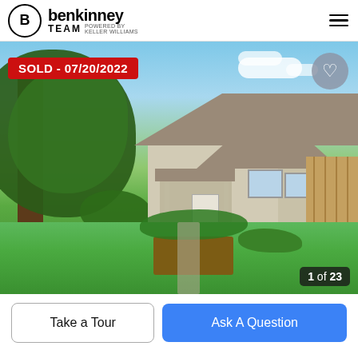benkinney TEAM powered by KELLER WILLIAMS
[Figure (photo): Exterior photo of a small bungalow-style house with a covered front porch, hanging flower baskets, green lawn, large trees, wooden fence on the right, and a planter box in the foreground. Bright sunny day with blue sky. Sold badge overlay reads SOLD - 07/20/2022. Photo counter shows 1 of 23.]
SOLD - 07/20/2022
1 of 23
Take a Tour
Ask A Question